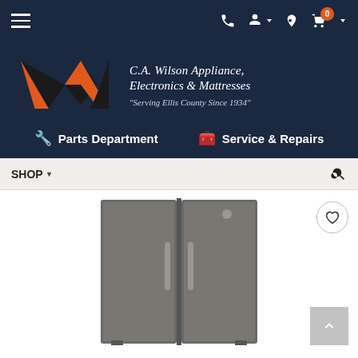[Figure (screenshot): Website header navigation bar with hamburger menu on left, and icons (phone, user, location, cart with 0 badge) on right, dark navy background]
[Figure (logo): C.A. Wilson Appliance, Electronics & Mattresses logo with orange-black W chevron mark and text 'Serving Ellis County Since 1934']
🔧 Parts Department   🧰 Service & Repairs
SHOP ▾
[Figure (photo): Side-by-side stainless steel/slate refrigerator (GE or similar) with two doors and vertical handles, shown against a white background]